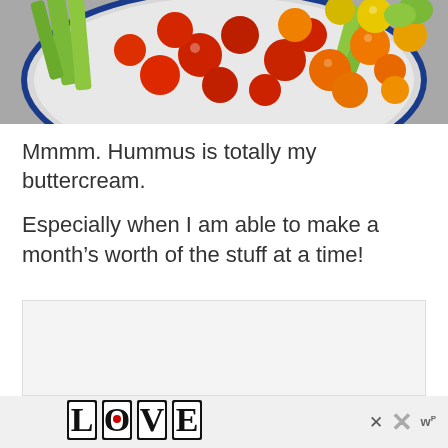[Figure (photo): Top-down view of a white plate with blue rim containing colorful cherry tomatoes (red, orange, yellow) and celery sticks on a gray surface]
Mmmm. Hummus is totally my buttercream.
Especially when I am able to make a month’s worth of the stuff at a time!
[Figure (other): Gray advertisement placeholder box]
LOVE logo advertisement banner with close (x) buttons and WordPress icon